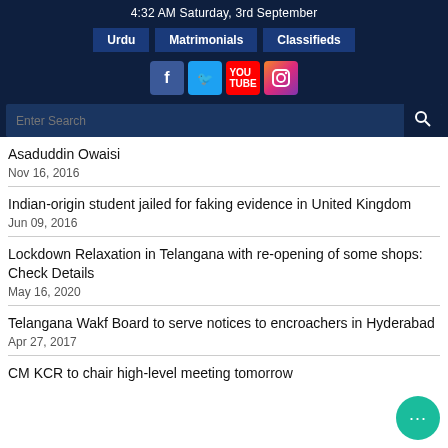4:32 AM Saturday, 3rd September
Urdu | Matrimonials | Classifieds
[Figure (other): Social media icons: Facebook, Twitter, YouTube, Instagram]
Enter Search
Asaduddin Owaisi
Nov 16, 2016
Indian-origin student jailed for faking evidence in United Kingdom
Jun 09, 2016
Lockdown Relaxation in Telangana with re-opening of some shops: Check Details
May 16, 2020
Telangana Wakf Board to serve notices to encroachers in Hyderabad
Apr 27, 2017
CM KCR to chair high-level meeting tomorrow